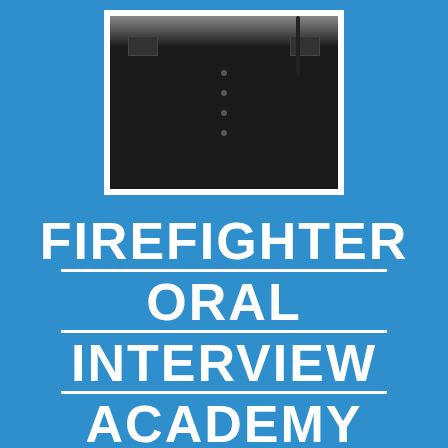[Figure (photo): A firefighter in a black uniform shirt with patches and a lanyard/badge, photographed from the chest up against a bright sky background.]
FIREFIGHTER ORAL INTERVIEW ACADEMY